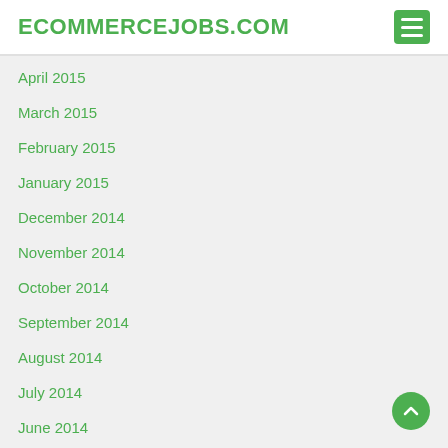ECOMMERCEJOBS.COM
April 2015
March 2015
February 2015
January 2015
December 2014
November 2014
October 2014
September 2014
August 2014
July 2014
June 2014
May 2014